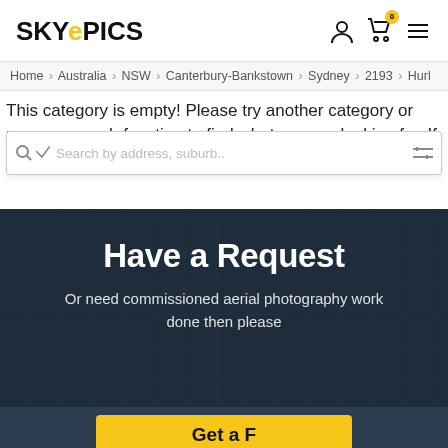SKYEPICS
Home > Australia > NSW > Canterbury-Bankstown > Sydney > 2193 > Hurl
This category is empty! Please try another category or use our search function to find what you are looking for. If you require further assistance please contact us.
[Figure (screenshot): Search bar with magnifier icon and placeholder text 'Search by address, suburb..' and filter icon]
Have a Request
Or need commissioned aerial photography work done then please
[Figure (other): Partially visible yellow CTA button at bottom of page]